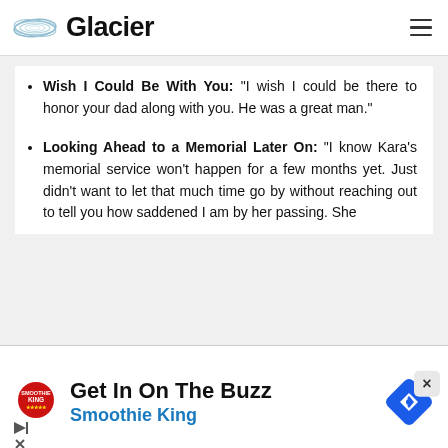Glacier
Wish I Could Be With You: “I wish I could be there to honor your dad along with you. He was a great man.”
Looking Ahead to a Memorial Later On: “I know Kara’s memorial service won’t happen for a few months yet. Just didn’t want to let that much time go by without reaching out to tell you how saddened I am by her passing. She
[Figure (infographic): Advertisement banner for Smoothie King: 'Get In On The Buzz' with Smoothie King logo and navigation icon]